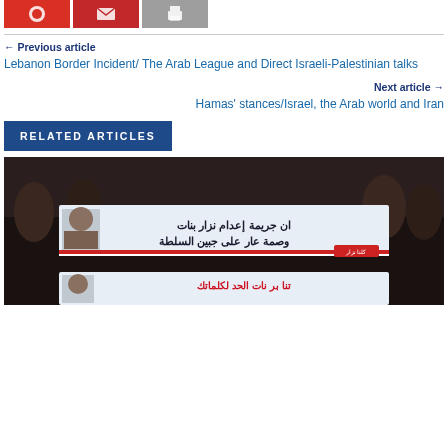[Figure (other): Three social sharing buttons: red Twitter/share button, dark red email button, gray print button]
← Previous article
Lebanon Border Incident/ The Arab League and Direct Israeli-Palestinian talks
Next article →
Hamas' stances/Israel, the Arab world and Iran
RELATED ARTICLES
[Figure (photo): Protest crowd holding signs with Arabic text]